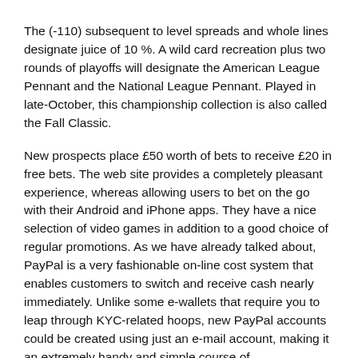The (-110) subsequent to level spreads and whole lines designate juice of 10 %. A wild card recreation plus two rounds of playoffs will designate the American League Pennant and the National League Pennant. Played in late-October, this championship collection is also called the Fall Classic.
New prospects place £50 worth of bets to receive £20 in free bets. The web site provides a completely pleasant experience, whereas allowing users to bet on the go with their Android and iPhone apps. They have a nice selection of video games in addition to a good choice of regular promotions. As we have already talked about, PayPal is a very fashionable on-line cost system that enables customers to switch and receive cash nearly immediately. Unlike some e-wallets that require you to leap through KYC-related hoops, new PayPal accounts could be created using just an e-mail account, making it an extremely handy and simple course of.